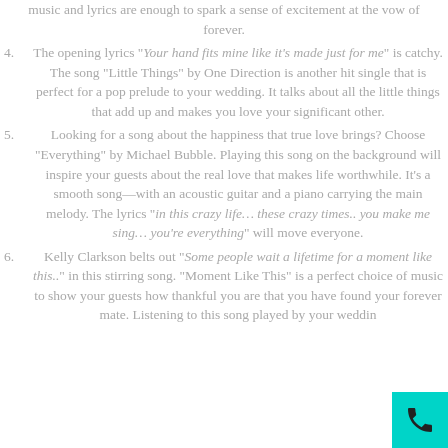music and lyrics are enough to spark a sense of excitement at the vow of forever.
4. The opening lyrics "Your hand fits mine like it's made just for me" is catchy. The song "Little Things" by One Direction is another hit single that is perfect for a pop prelude to your wedding. It talks about all the little things that add up and makes you love your significant other.
5. Looking for a song about the happiness that true love brings? Choose "Everything" by Michael Bubble. Playing this song on the background will inspire your guests about the real love that makes life worthwhile. It's a smooth song—with an acoustic guitar and a piano carrying the main melody. The lyrics "in this crazy life… these crazy times.. you make me sing… you're everything" will move everyone.
6. Kelly Clarkson belts out "Some people wait a lifetime for a moment like this.." in this stirring song. "Moment Like This" is a perfect choice of music to show your guests how thankful you are that you have found your forever mate. Listening to this song played by your wedding